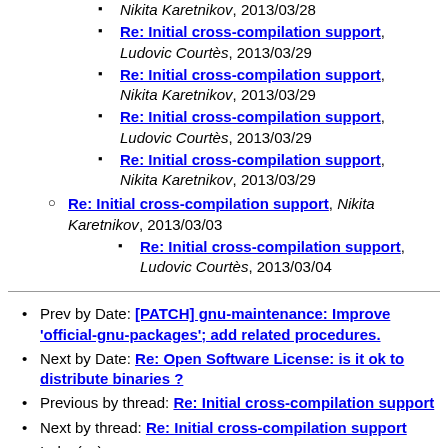Re: Initial cross-compilation support, Nikita Karetnikov, 2013/03/28
Re: Initial cross-compilation support, Ludovic Courtès, 2013/03/29
Re: Initial cross-compilation support, Nikita Karetnikov, 2013/03/29
Re: Initial cross-compilation support, Ludovic Courtès, 2013/03/29
Re: Initial cross-compilation support, Nikita Karetnikov, 2013/03/29
Re: Initial cross-compilation support, Nikita Karetnikov, 2013/03/03
Re: Initial cross-compilation support, Ludovic Courtès, 2013/03/04
Prev by Date: [PATCH] gnu-maintenance: Improve 'official-gnu-packages'; add related procedures.
Next by Date: Re: Open Software License: is it ok to distribute binaries ?
Previous by thread: Re: Initial cross-compilation support
Next by thread: Re: Initial cross-compilation support
Index(es):
Date
Thread